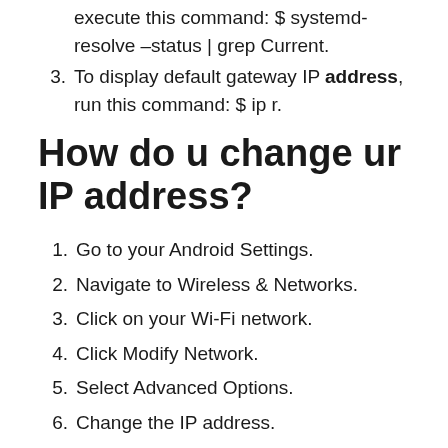execute this command: $ systemd-resolve –status | grep Current.
To display default gateway IP address, run this command: $ ip r.
How do u change ur IP address?
Go to your Android Settings.
Navigate to Wireless & Networks.
Click on your Wi-Fi network.
Click Modify Network.
Select Advanced Options.
Change the IP address.
How do I reset my IP address on…